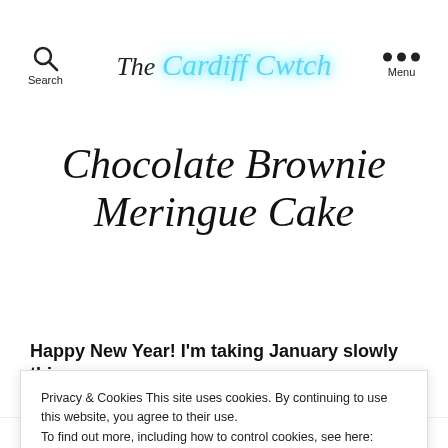The Cardiff Cwtch — Search | Menu
Chocolate Brownie Meringue Cake
Happy New Year! I'm taking January slowly this year
Privacy & Cookies This site uses cookies. By continuing to use this website, you agree to their use.
To find out more, including how to control cookies, see here: Privacy Statement
CLOSE AND ACCEPT